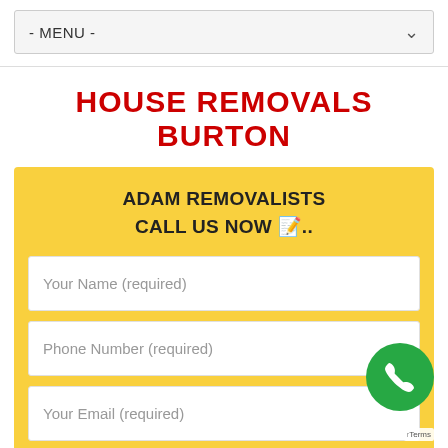- MENU -
HOUSE REMOVALS BURTON
ADAM REMOVALISTS CALL US NOW 🖊..
Your Name (required)
Phone Number (required)
Your Email (required)